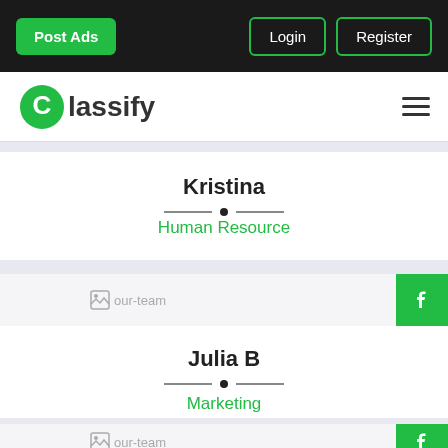Post Ads | Login | Register
[Figure (logo): Classify logo with green C icon and dark text]
Kristina
Human Resource
[Figure (photo): our-team image placeholder with Facebook share button]
Julia B
Marketing
[Figure (photo): our-team image placeholder with Facebook share button]